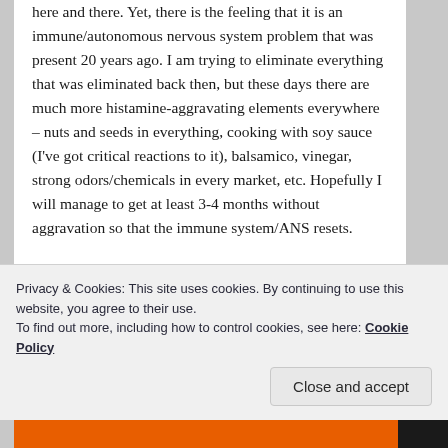here and there. Yet, there is the feeling that it is an immune/autonomous nervous system problem that was present 20 years ago. I am trying to eliminate everything that was eliminated back then, but these days there are much more histamine-aggravating elements everywhere – nuts and seeds in everything, cooking with soy sauce (I've got critical reactions to it), balsamico, vinegar, strong odors/chemicals in every market, etc. Hopefully I will manage to get at least 3-4 months without aggravation so that the immune system/ANS resets.
Cheers!
Privacy & Cookies: This site uses cookies. By continuing to use this website, you agree to their use.
To find out more, including how to control cookies, see here: Cookie Policy